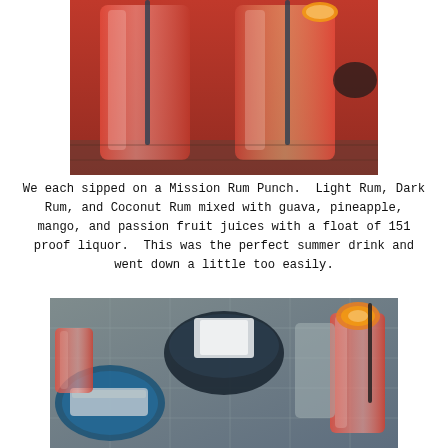[Figure (photo): Two tall glasses filled with red/orange Mission Rum Punch cocktails, garnished with citrus, on an outdoor table with a dark bowl in background.]
We each sipped on a Mission Rum Punch.  Light Rum, Dark Rum, and Coconut Rum mixed with guava, pineapple, mango, and passion fruit juices with a float of 151 proof liquor.  This was the perfect summer drink and went down a little too easily.
[Figure (photo): Table with food plate, a black bowl with napkins, a red cocktail garnished with an orange slice, and another red drink on an outdoor patio table.]